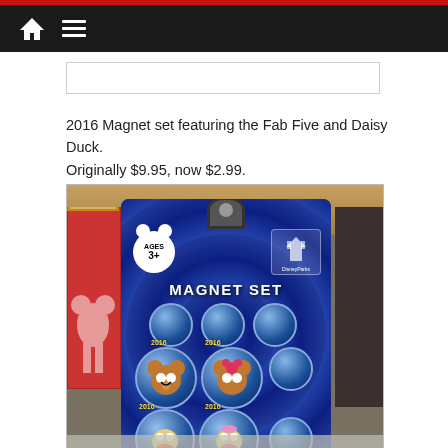Navigation bar with home and menu icons
2016 Magnet set featuring the Fab Five and Daisy Duck. Originally $9.95, now $2.99.
[Figure (photo): Disney Parks 2016 Magnet Set product photo showing blue-packaged magnet set with Mickey Mouse characters including Mickey, Minnie, Donald, Daisy and others. Package reads MAGNET SET with AGES 3+ badge and Disney Parks logo.]